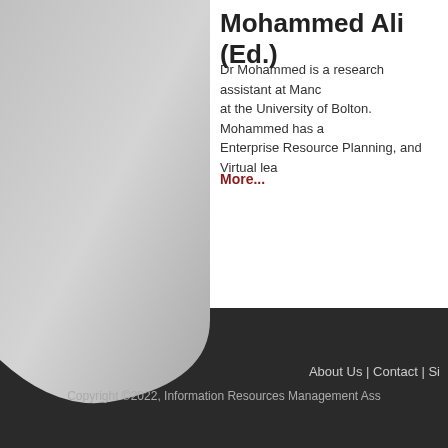Mohammed Ali (Ed.)
Dr Mohammed is a research assistant at Mano at the University of Bolton. Mohammed has a Enterprise Resource Planning, and Virtual lea
More...
About Us | Contact | Si
Copyright ©2022, Information Resources Management Ass